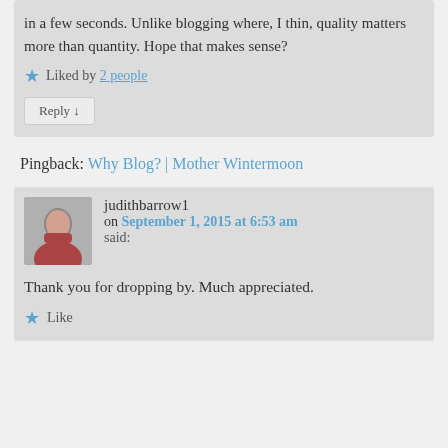in a few seconds. Unlike blogging where, I thin, quality matters more than quantity. Hope that makes sense?
Liked by 2 people
Reply ↓
Pingback: Why Blog? | Mother Wintermoon
judithbarrow1 on September 1, 2015 at 6:53 am said:
Thank you for dropping by. Much appreciated.
Like